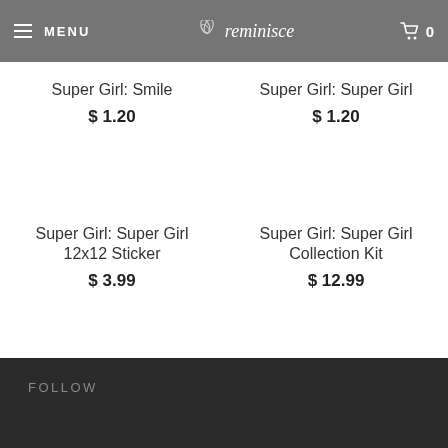MENU | reminisce | 0
Super Girl: Smile
$ 1.20
Super Girl: Super Girl
$ 1.20
Super Girl: Super Girl 12x12 Sticker
$ 3.99
Super Girl: Super Girl Collection Kit
$ 12.99
FOLLOW